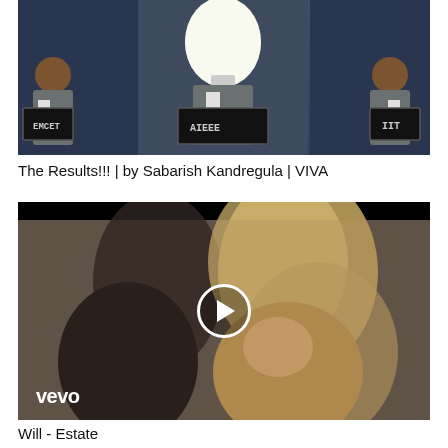[Figure (photo): Three men in suits each holding a chalkboard slate. Left slate reads EMCET, center slate reads AIEEE, right slate reads IIT. Center man has a bright light bulb for a head.]
The Results!!! | by Sabarish Kandregula | VIVA
[Figure (photo): A Vevo music video thumbnail showing two people with long blonde hair in a muted/desaturated scene. A white play button circle is overlaid in the center. Vevo logo appears in bottom left.]
Will - Estate